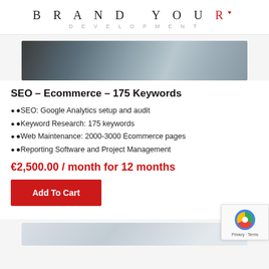BRAND YOUR DEVELOPMENT
[Figure (photo): Close-up photo of a laptop or electronic device on a wooden surface, blurred bokeh background]
SEO – Ecommerce – 175 Keywords
SEO: Google Analytics setup and audit
Keyword Research: 175 keywords
Web Maintenance: 2000-3000 Ecommerce pages
Reporting Software and Project Management
€2,500.00 / month for 12 months
[Figure (other): Add To Cart button (red button)]
[Figure (photo): Bottom partial product image, light blue/grey tones]